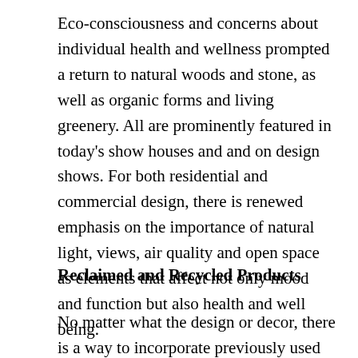Eco-consciousness and concerns about individual health and wellness prompted a return to natural woods and stone, as well as organic forms and living greenery. All are prominently featured in today's show houses and and on design shows. For both residential and commercial design, there is renewed emphasis on the importance of natural light, views, air quality and open space as elements that affect not only mood and function but also health and well being.
Reclaimed and Recycled Products
No matter what the design or decor, there is a way to incorporate previously used materials.